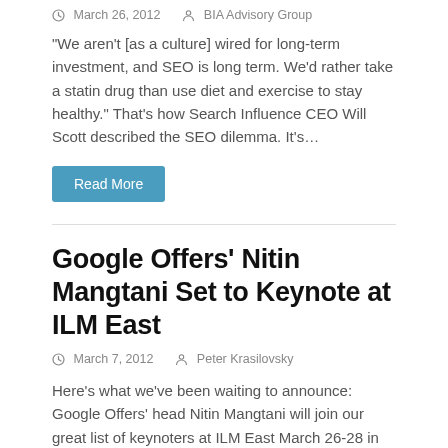March 26, 2012   BIA Advisory Group
"We aren't [as a culture] wired for long-term investment, and SEO is long term. We'd rather take a statin drug than use diet and exercise to stay healthy." That's how Search Influence CEO Will Scott described the SEO dilemma. It's…
Read More
Google Offers' Nitin Mangtani Set to Keynote at ILM East
March 7, 2012   Peter Krasilovsky
Here's what we've been waiting to announce: Google Offers' head Nitin Mangtani will join our great list of keynoters at ILM East March 26-28 in Boston. We believe Mangtani's appearance marks one of the first public debuts of Google Offers,…